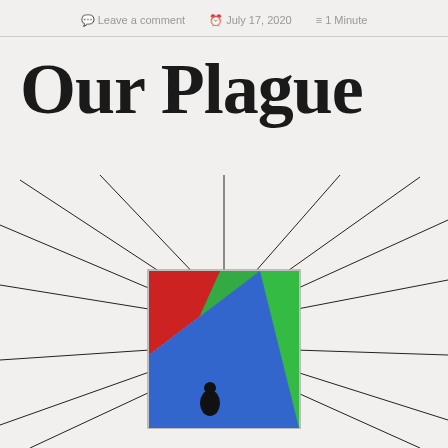Leave a comment   July 17, 2020   1 Minute
Our Plague
[Figure (illustration): Illustration of a framed artwork showing red, blue, and green color blocks with a black silhouette figure, with radiating lines emanating outward from the frame like rays of light or a sunburst pattern.]